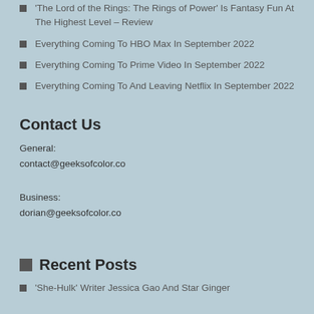'The Lord of the Rings: The Rings of Power' Is Fantasy Fun At The Highest Level – Review
Everything Coming To HBO Max In September 2022
Everything Coming To Prime Video In September 2022
Everything Coming To And Leaving Netflix In September 2022
Contact Us
General:
contact@geeksofcolor.co
Business:
dorian@geeksofcolor.co
Recent Posts
'She-Hulk' Writer Jessica Gao And Star Ginger